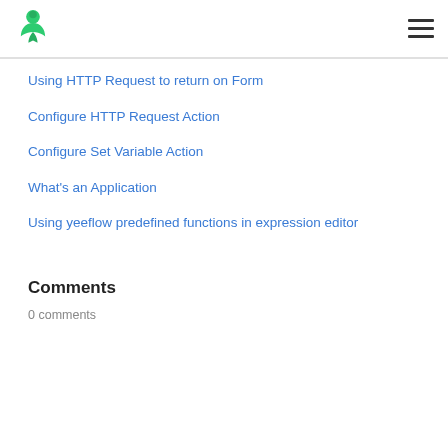Yeeflow logo and navigation menu
Using HTTP Request to return on Form
Configure HTTP Request Action
Configure Set Variable Action
What's an Application
Using yeeflow predefined functions in expression editor
Comments
0 comments